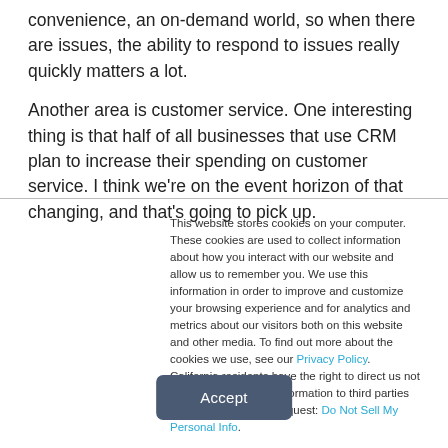convenience, an on-demand world, so when there are issues, the ability to respond to issues really quickly matters a lot.
Another area is customer service. One interesting thing is that half of all businesses that use CRM plan to increase their spending on customer service. I think we're on the event horizon of that changing, and that's going to pick up.
This website stores cookies on your computer. These cookies are used to collect information about how you interact with our website and allow us to remember you. We use this information in order to improve and customize your browsing experience and for analytics and metrics about our visitors both on this website and other media. To find out more about the cookies we use, see our Privacy Policy. California residents have the right to direct us not to sell their personal information to third parties by filing an Opt-Out Request: Do Not Sell My Personal Info.
Accept